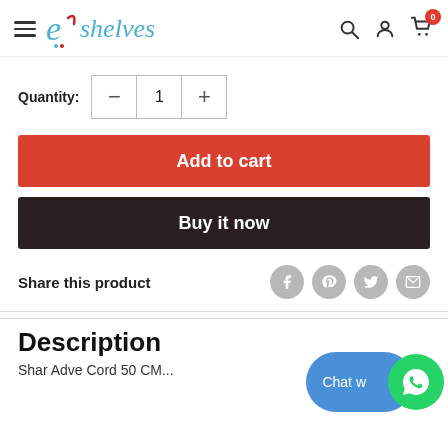eshelves
Quantity: 1
Add to cart
Buy it now
Share this product
Description
Chat w...